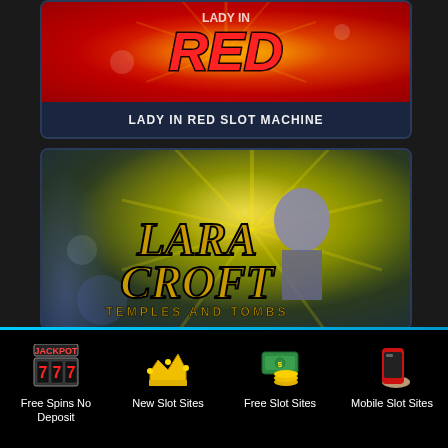[Figure (screenshot): Lady in Red slot machine game promotional banner with red background and stylized RED text logo]
LADY IN RED SLOT MACHINE
[Figure (screenshot): Lara Croft Temples and Tombs slot machine game promotional banner with dark olive/gold background, starburst light effect, and Lara Croft character]
Free Spins No Deposit
New Slot Sites
Free Slot Sites
Mobile Slot Sites